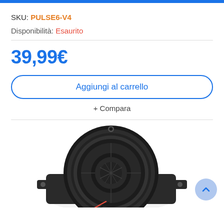SKU: PULSE6-V4
Disponibilità: Esaurito
39,99€
Aggiungi al carrello
+ Compara
[Figure (photo): Car speaker / coaxial driver viewed from above, circular black speaker with mounting flanges and red/black wire leads, partially cropped at bottom of page.]